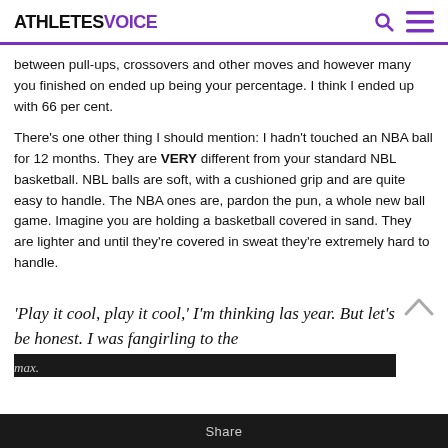ATHLETESVOICE
between pull-ups, crossovers and other moves and however many you finished on ended up being your percentage. I think I ended up with 66 per cent.
There’s one other thing I should mention: I hadn’t touched an NBA ball for 12 months. They are VERY different from your standard NBL basketball. NBL balls are soft, with a cushioned grip and are quite easy to handle. The NBA ones are, pardon the pun, a whole new ball game. Imagine you are holding a basketball covered in sand. They are lighter and until they’re covered in sweat they’re extremely hard to handle.
‘Play it cool, play it cool,’ I’m thinking last year. But let’s be honest. I was fangirling to the max.
Share